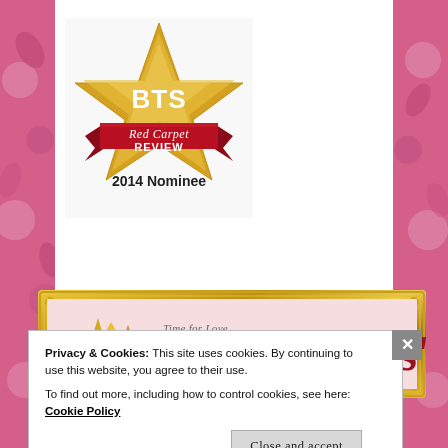[Figure (logo): BTS Red Carpet Review 2014 Nominee badge — gold star with 'BTS' text, red ribbon banner reading 'Red Carpet REVIEW', and text '2014 Nominee' below]
[Figure (logo): Readers' award badge in gold ornate frame on pink background, with gold star and cursive text 'Time for Love' and large red serif text 'Readers'']
Privacy & Cookies: This site uses cookies. By continuing to use this website, you agree to their use.
To find out more, including how to control cookies, see here: Cookie Policy
Close and accept